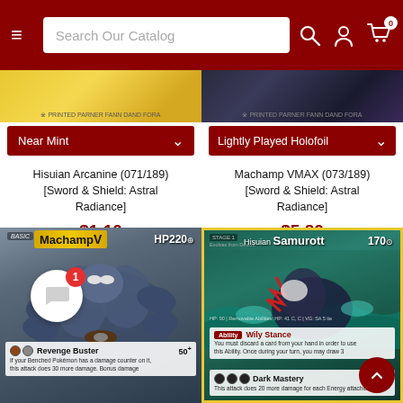Search Our Catalog
[Figure (screenshot): Hisuian Arcanine card image strip - yellow/gold background]
[Figure (screenshot): Machamp VMAX card image strip - dark background]
Near Mint
Lightly Played Holofoil
Hisuian Arcanine (071/189) [Sword & Shield: Astral Radiance]
Machamp VMAX (073/189) [Sword & Shield: Astral Radiance]
$1.10
$5.80
[Figure (photo): Machamp V Pokemon card showing Machamp with 220 HP, Revenge Buster attack, dark blue muscular Pokemon illustration]
[Figure (photo): Hisuian Samurott Pokemon card showing 170 HP, Wily Stance ability, Dark Mastery attack, teal ocean background]